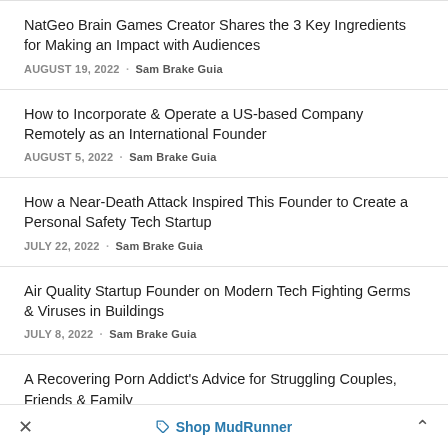NatGeo Brain Games Creator Shares the 3 Key Ingredients for Making an Impact with Audiences
AUGUST 19, 2022 · Sam Brake Guia
How to Incorporate & Operate a US-based Company Remotely as an International Founder
AUGUST 5, 2022 · Sam Brake Guia
How a Near-Death Attack Inspired This Founder to Create a Personal Safety Tech Startup
JULY 22, 2022 · Sam Brake Guia
Air Quality Startup Founder on Modern Tech Fighting Germs & Viruses in Buildings
JULY 8, 2022 · Sam Brake Guia
A Recovering Porn Addict's Advice for Struggling Couples, Friends & Family
× Shop MudRunner ^